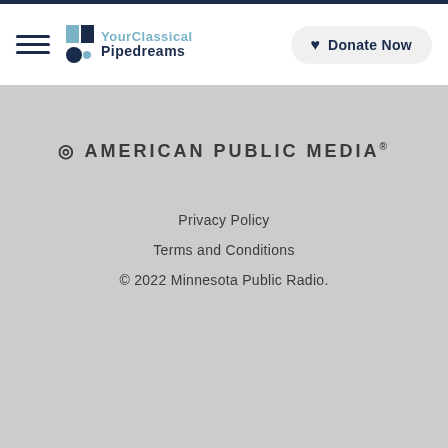[Figure (logo): YourClassical Pipedreams logo with hamburger menu icon]
[Figure (logo): Donate Now button with heart icon]
[Figure (logo): O American Public Media registered trademark logo]
Privacy Policy
Terms and Conditions
© 2022 Minnesota Public Radio.